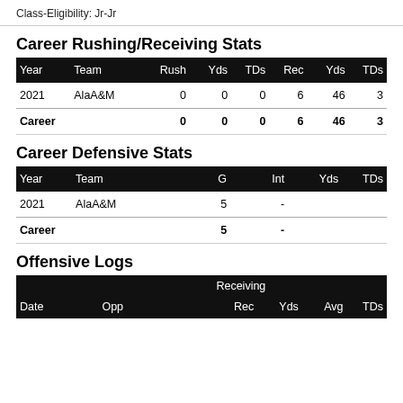Class-Eligibility: Jr-Jr
Career Rushing/Receiving Stats
| Year | Team | Rush | Yds | TDs | Rec | Yds | TDs |
| --- | --- | --- | --- | --- | --- | --- | --- |
| 2021 | AlaA&M | 0 | 0 | 0 | 6 | 46 | 3 |
| Career |  | 0 | 0 | 0 | 6 | 46 | 3 |
Career Defensive Stats
| Year | Team | G | Int | Yds | TDs |
| --- | --- | --- | --- | --- | --- |
| 2021 | AlaA&M | 5 | - |  |  |
| Career |  | 5 | - |  |  |
Offensive Logs
| Date | Opp | Rec | Yds | Avg | TDs |
| --- | --- | --- | --- | --- | --- |